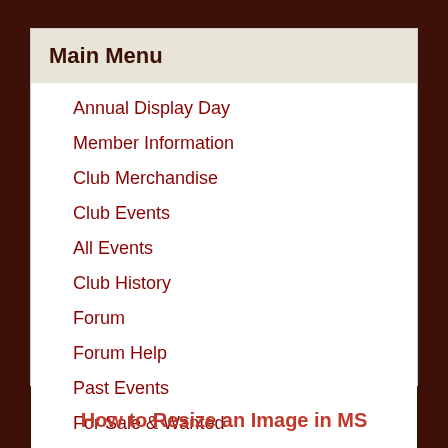Main Menu
Annual Display Day
Member Information
Club Merchandise
Club Events
All Events
Club History
Forum
Forum Help
Past Events
For Sale & Wanted
Features
SiteMap
How to Resize an Image in MS